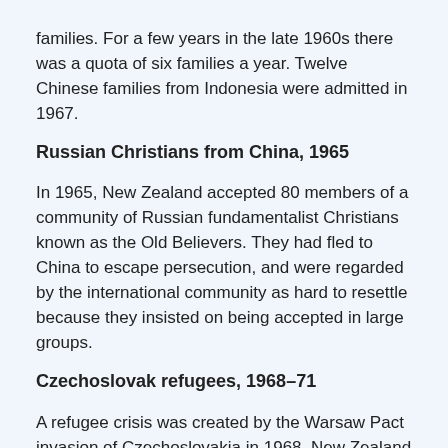families. For a few years in the late 1960s there was a quota of six families a year. Twelve Chinese families from Indonesia were admitted in 1967.
Russian Christians from China, 1965
In 1965, New Zealand accepted 80 members of a community of Russian fundamentalist Christians known as the Old Believers. They had fled to China to escape persecution, and were regarded by the international community as hard to resettle because they insisted on being accepted in large groups.
Czechoslovak refugees, 1968–71
A refugee crisis was created by the Warsaw Pact invasion of Czechoslovakia in 1968. New Zealand was keen to accept a small number of